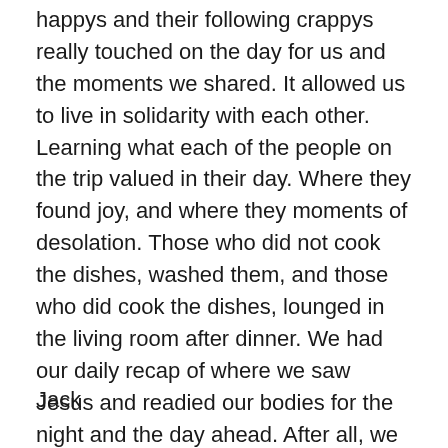happys and their following crappys really touched on the day for us and the moments we shared. It allowed us to live in solidarity with each other. Learning what each of the people on the trip valued in their day. Where they found joy, and where they moments of desolation. Those who did not cook the dishes, washed them, and those who did cook the dishes, lounged in the living room after dinner. We had our daily recap of where we saw Jesus and readied our bodies for the night and the day ahead. After all, we had gotten lost on our way to our room. Who knew what misadventures tomorrow might hold? And what did today really mean for us? For most, it was an excellent beginning to our trip, an affirmation that we'd made the right choice in coming, and a hint at what God had in store for us in the future.
Jack